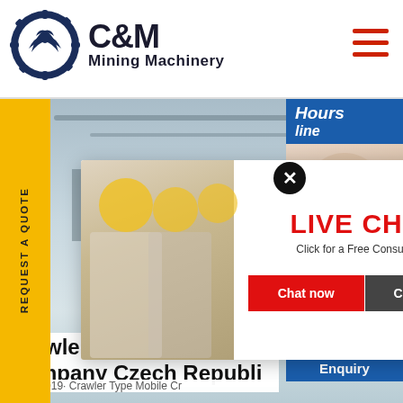[Figure (logo): C&M Mining Machinery logo with eagle in gear circle, navy blue and white]
[Figure (screenshot): Website screenshot showing C&M Mining Machinery page with live chat popup overlay featuring workers in hard hats, LIVE CHAT heading in red, Click for a Free Consultation text, Chat now and Chat later buttons, and a right sidebar with customer service agent]
Crawler Type Mobile Crusher Company Czech Republic
09/10/2019· Crawler Type Mobile Cr...